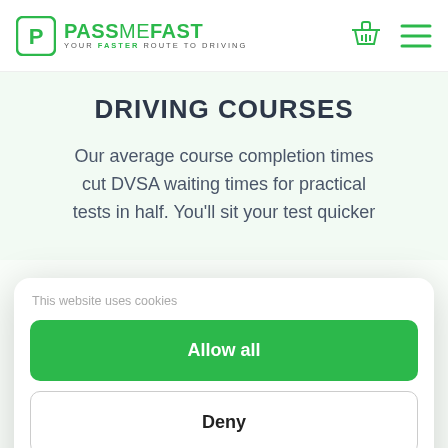[Figure (logo): PassMeFast logo with green P in a rounded square box, green text PASSMFAST, tagline YOUR FASTER ROUTE TO DRIVING]
DRIVING COURSES
Our average course completion times cut DVSA waiting times for practical tests in half. You'll sit your test quicker
This website uses cookies
Allow all
Deny
Powered by Cookiebot by Usercentrics